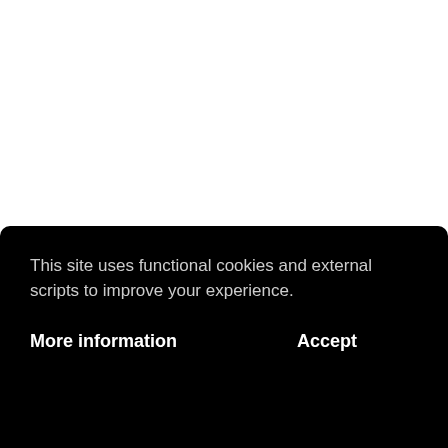I feel like I'm being unfaithful to leopard by wearing snake
This site uses functional cookies and external scripts to improve your experience.
More information
Accept